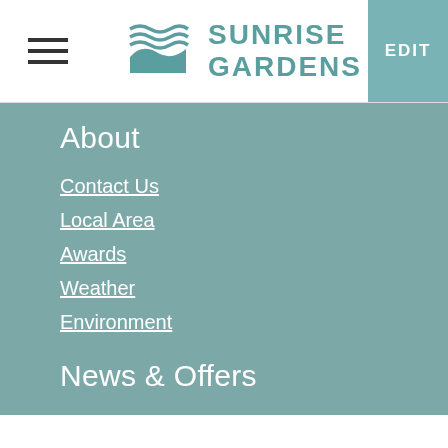[Figure (logo): Sunrise Gardens logo with teal wave/landscape graphic and text SUNRISE GARDENS]
About
Contact Us
Local Area
Awards
Weather
Environment
News & Offers
This website uses cookies to ensure you get the best experience on our website. LEARN MORE
ACCEPT
Bookings